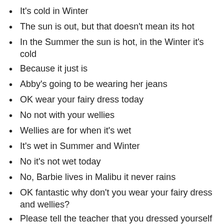It's cold in Winter
The sun is out, but that doesn't mean its hot
In the Summer the sun is hot, in the Winter it's cold
Because it just is
Abby's going to be wearing her jeans
OK wear your fairy dress today
No not with your wellies
Wellies are for when it's wet
It's wet in Summer and Winter
No it's not wet today
No, Barbie lives in Malibu it never rains
OK fantastic why don't you wear your fairy dress and wellies?
Please tell the teacher that you dressed yourself this morning
And forgot your coat
You only have…